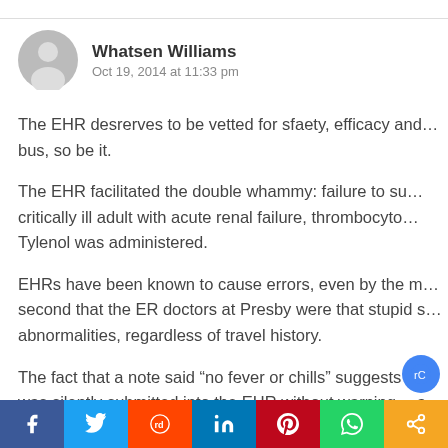Whatsen Williams
Oct 19, 2014 at 11:33 pm
The EHR desrerves to be vetted for sfaety, efficacy and... bus, so be it.
The EHR facilitated the double whammy: failure to su... critically ill adult with acute renal failure, thrombocyto... Tylenol was administered.
EHRs have been known to cause errors, even by the m... second that the ER doctors at Presby were that stupid s... abnormalities, regardless of travel history.
The fact that a note said “no fever or chills” suggests t... was silently submitted into the EHR without warning... a known defect that has repeatedly caused delays in ca...